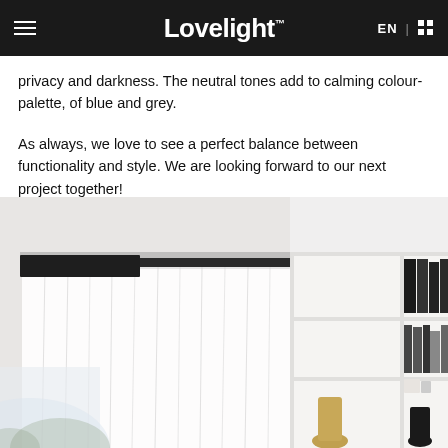Lovelight | EN
privacy and darkness. The neutral tones add to calming colour-palette, of blue and grey.
As always, we love to see a perfect balance between functionality and style. We are looking forward to our next project together!
[Figure (photo): Interior room photo showing sheer white curtains on a curtain track mounted near the ceiling, with a white bookshelf unit on the right side containing books and decorative objects. The room has a clean, minimalist Scandinavian aesthetic with neutral tones.]